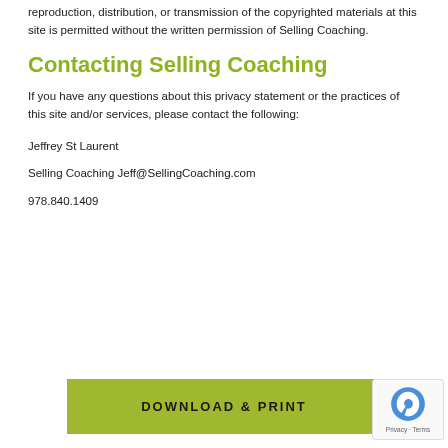reproduction, distribution, or transmission of the copyrighted materials at this site is permitted without the written permission of Selling Coaching.
Contacting Selling Coaching
If you have any questions about this privacy statement or the practices of this site and/or services, please contact the following:
Jeffrey St Laurent
Selling Coaching Jeff@SellingCoaching.com
978.840.1409
[Figure (other): Green 'DOWNLOAD & PRINT' button]